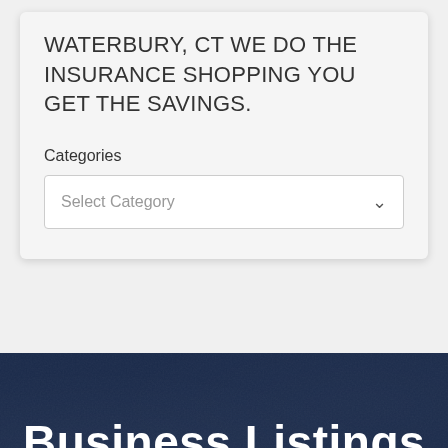WATERBURY, CT WE DO THE INSURANCE SHOPPING YOU GET THE SAVINGS.
Categories
[Figure (screenshot): A dropdown select input labeled 'Select Category' with a chevron arrow on the right]
Business Listings